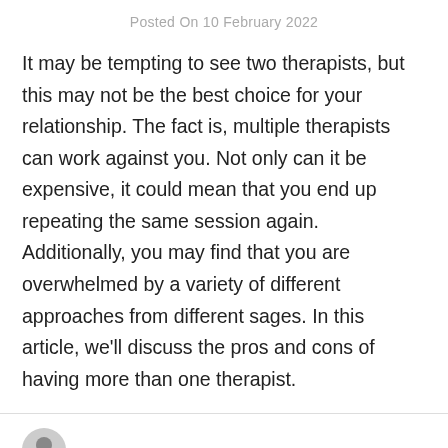Posted On 10 February 2022
It may be tempting to see two therapists, but this may not be the best choice for your relationship. The fact is, multiple therapists can work against you. Not only can it be expensive, it could mean that you end up repeating the same session again. Additionally, you may find that you are overwhelmed by a variety of different approaches from different sages. In this article, we'll discuss the pros and cons of having more than one therapist.
Max